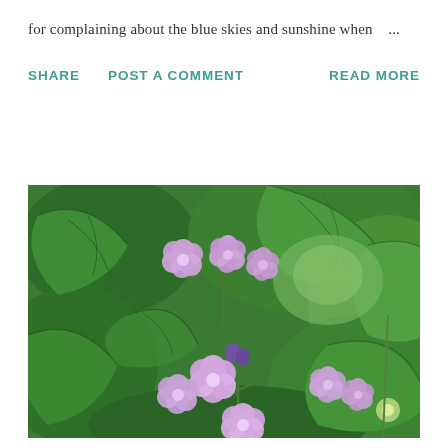for complaining about the blue skies and sunshine when   ...
SHARE   POST A COMMENT   READ MORE
[Figure (photo): Close-up photograph of purple/lavender flowers (possibly Lunaria or Phlox) with multiple small four-to-five petaled blooms, surrounded by large green textured leaves. Two clusters of flowers are visible, one in the upper portion and one in the lower portion of the image.]